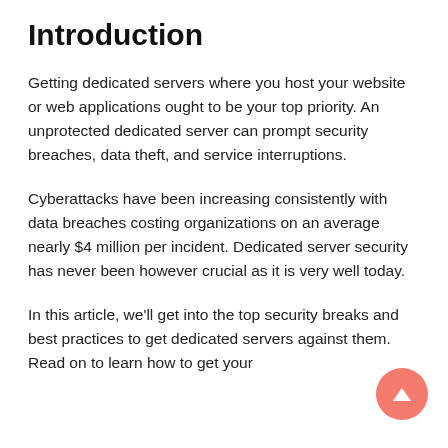Introduction
Getting dedicated servers where you host your website or web applications ought to be your top priority. An unprotected dedicated server can prompt security breaches, data theft, and service interruptions.
Cyberattacks have been increasing consistently with data breaches costing organizations on an average nearly $4 million per incident. Dedicated server security has never been however crucial as it is very well today.
In this article, we'll get into the top security breaks and best practices to get dedicated servers against them. Read on to learn how to get your